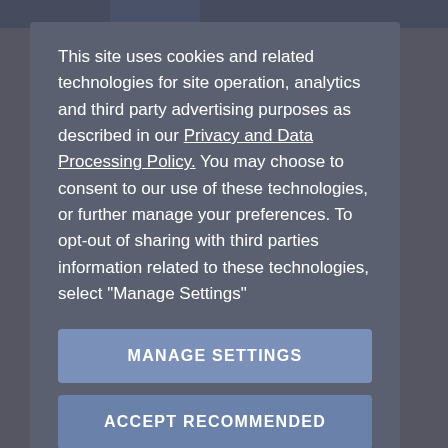This site uses cookies and related technologies for site operation, analytics and third party advertising purposes as described in our Privacy and Data Processing Policy. You may choose to consent to our use of these technologies, or further manage your preferences. To opt-out of sharing with third parties information related to these technologies, select "Manage Settings"
MANAGE SETTINGS
ACCEPT RECOMMENDED